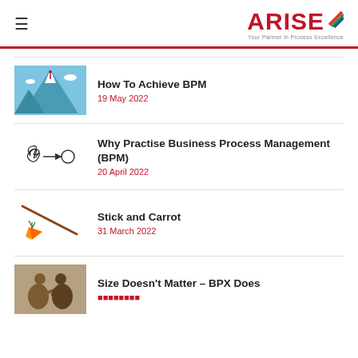ARISE – Your Partner in Process Excellence
How To Achieve BPM | 19 May 2022
Why Practise Business Process Management (BPM) | 20 April 2022
Stick and Carrot | 31 March 2022
Size Doesn't Matter – BPX Does